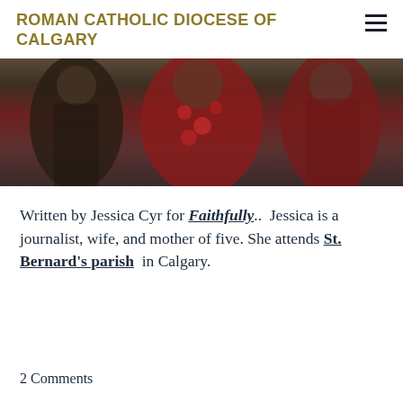ROMAN CATHOLIC DIOCESE OF CALGARY
[Figure (photo): A photograph showing three people standing together, partially cropped at the top. The individuals appear to be wearing patterned clothing in dark and red tones.]
Written by Jessica Cyr for Faithfully..  Jessica is a journalist, wife, and mother of five. She attends St. Bernard's parish  in Calgary.
2 Comments